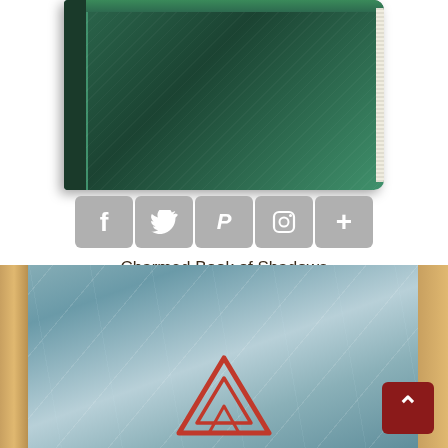[Figure (photo): Top portion of a green velvet/leather bound book (Charmed Book of Shadows), showing the spine and cover from above at an angle]
[Figure (infographic): Row of social media sharing icons: Facebook (f), Twitter (bird), Pinterest (P), Instagram (camera), and a plus (+) button, all in gray rounded square buttons]
Charmed Book of Shadows
[Figure (infographic): Five empty star rating icons (0 out of 5 stars)]
$989.86
Add to cart
[Figure (photo): Gray/silver textured leather-bound book with a red triquetra (triple knot) symbol on the cover, partially visible at bottom of page. Left and right edges show golden/amber borders. A dark red scroll-to-top button is in the lower right corner.]